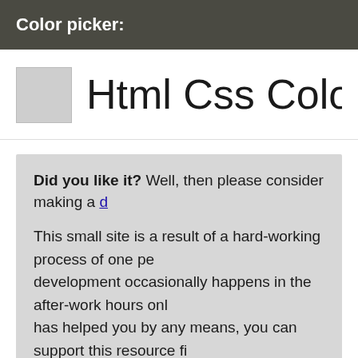Color picker:
Html Css Color HEX #CE...
Did you like it? Well, then please consider making a d... This small site is a result of a hard-working process of one pe... development occasionally happens in the after-work hours onl... has helped you by any means, you can support this resource fi... invested in the future support and new feature development. Th...
[Figure (other): Gray rectangular advertisement or content block at the bottom of the page]